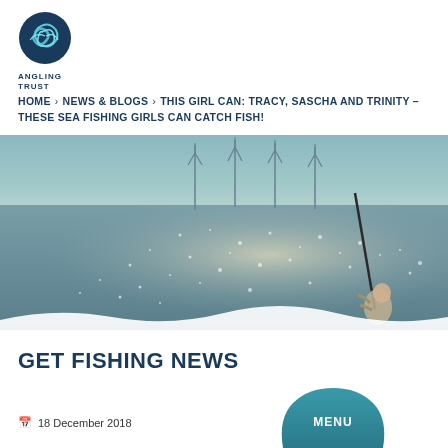[Figure (logo): Angling Trust logo with circular wave/fish symbol above text ANGLING TRUST]
HOME > NEWS & BLOGS > THIS GIRL CAN: TRACY, SASCHA AND TRINITY – THESE SEA FISHING GIRLS CAN CATCH FISH!
[Figure (photo): Person sea fishing on a beach, casting a rod, with wind turbines visible in the background across sparkling water]
GET FISHING NEWS
18 December 2018